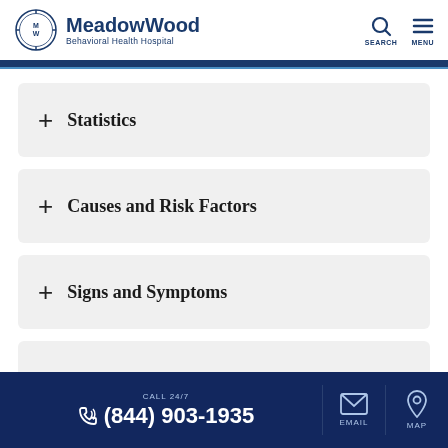[Figure (logo): MeadowWood Behavioral Health Hospital logo with MW monogram in circular design and text]
+ Statistics
+ Causes and Risk Factors
+ Signs and Symptoms
CALL 24/7 (844) 903-1935 EMAIL MAP